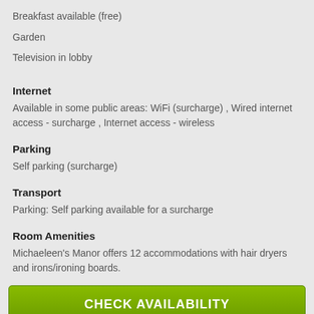Breakfast available (free)
Garden
Television in lobby
Internet
Available in some public areas: WiFi (surcharge) , Wired internet access - surcharge , Internet access - wireless
Parking
Self parking (surcharge)
Transport
Parking: Self parking available for a surcharge
Room Amenities
Michaeleen's Manor offers 12 accommodations with hair dryers and irons/ironing boards.
CHECK AVAILABILITY